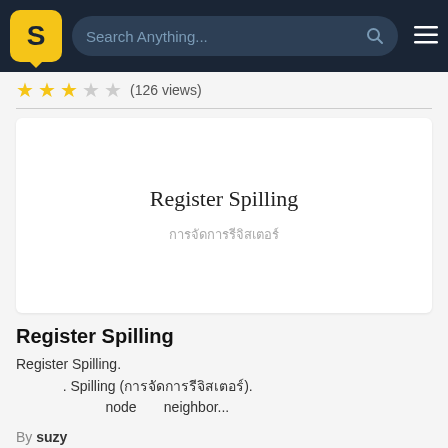Search Anything...
(126 views)
[Figure (illustration): Document preview card showing 'Register Spilling' title with Thai subtitle text]
Register Spilling
Register Spilling.
. Spilling (การจัดการรีจิสเตอร์).
node       neighbor...
By suzy
(87 views)